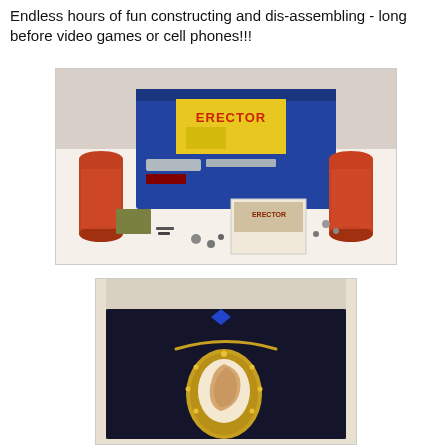Endless hours of fun constructing and dis-assembling - long before video games or cell phones!!!
[Figure (photo): Vintage Erector set in open blue box with cylindrical tins, metal parts, nuts and bolts, and instruction booklet spread on a white table]
[Figure (photo): Gold cameo necklace with profile portrait displayed in a dark velvet jewelry box]